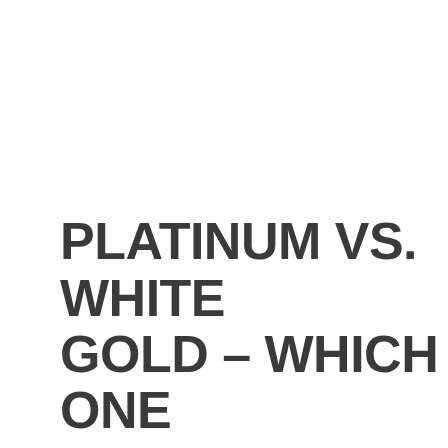PLATINUM VS. WHITE GOLD – WHICH ONE